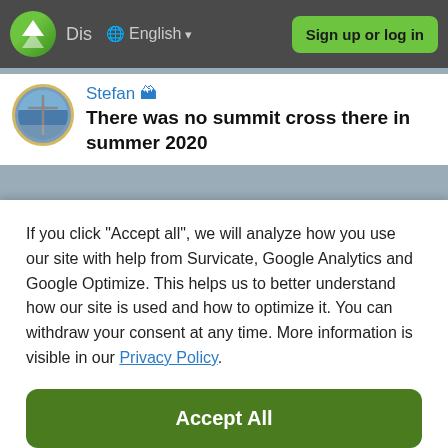Dis  English  Sign up or log in
Stefan 🏔
There was no summit cross there in summer 2020
If you click "Accept all", we will analyze how you use our site with help from Survicate, Google Analytics and Google Optimize. This helps us to better understand how our site is used and how to optimize it. You can withdraw your consent at any time. More information is visible in our Privacy Policy.
Accept All
Decline
Details
Zugspitze.